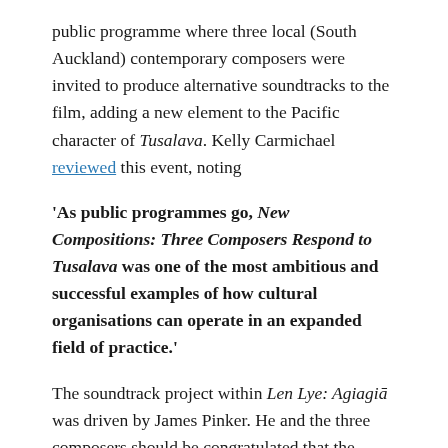public programme where three local (South Auckland) contemporary composers were invited to produce alternative soundtracks to the film, adding a new element to the Pacific character of Tusalava. Kelly Carmichael reviewed this event, noting
'As public programmes go, New Compositions: Three Composers Respond to Tusalava was one of the most ambitious and successful examples of how cultural organisations can operate in an expanded field of practice.'
The soundtrack project within Len Lye: Agiagiā was driven by James Pinker. He and the three composers should be congratulated that the